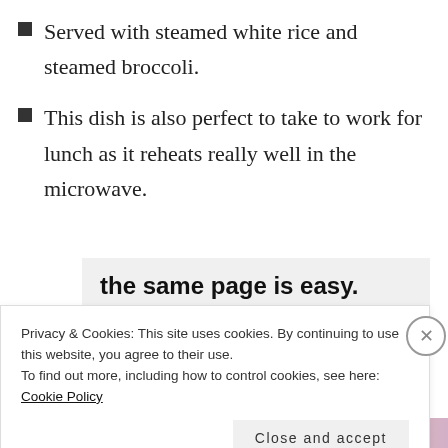Served with steamed white rice and steamed broccoli.
This dish is also perfect to take to work for lunch as it reheats really well in the microwave.
[Figure (screenshot): Advertisement banner showing text 'the same page is easy. And free.' with circular profile photos including a blue plus button circle.]
Privacy & Cookies: This site uses cookies. By continuing to use this website, you agree to their use.
To find out more, including how to control cookies, see here: Cookie Policy
Close and accept